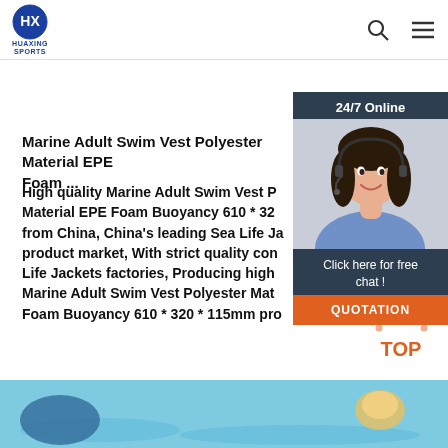HUAXING SPORTS
[Figure (photo): Customer service representative woman with headset smiling, shown in a 24/7 Online chat widget sidebar with dark navy background, 'Click here for free chat!' text, and orange QUOTATION button]
Marine Adult Swim Vest Polyester Material EPE Foam ...
High quality Marine Adult Swim Vest Polyester Material EPE Foam Buoyancy 610 * 320 from China, China's leading Sea Life Jackets product market, With strict quality control Life Jackets factories, Producing high quality Marine Adult Swim Vest Polyester Material EPE Foam Buoyancy 610 * 320 * 115mm products.
Get Price
[Figure (illustration): Colorful illustration strip at the bottom showing water/swimming scene with blue water, cartoon character and hand visible]